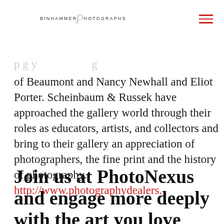BINHAMMER PHOTOGRAPHS
of Beaumont and Nancy Newhall and Eliot Porter. Scheinbaum & Russek have approached the gallery world through their roles as educators, artists, and collectors and bring to their gallery an appreciation of photographers, the fine print and the history of photography. http://www.photographydealers.
Join us at PhotoNexus and engage more deeply with the art you love